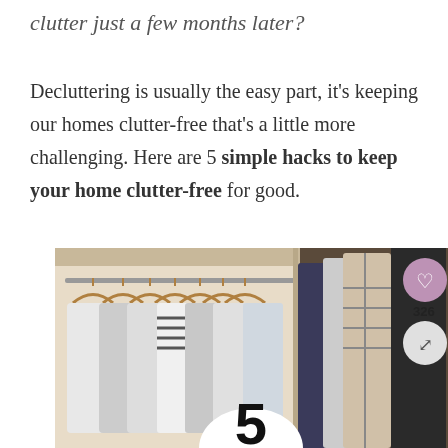clutter just a few months later?
Decluttering is usually the easy part, it's keeping our homes clutter-free that's a little more challenging. Here are 5 simple hacks to keep your home clutter-free for good.
[Figure (photo): Photo of an open wardrobe/closet with clothes hanging on wooden hangers on a rail on the left side, and dark patterned clothes visible on the right side. A circular badge with the number 5 appears at the bottom center. Social media icons (heart with count 326, and share icon) appear on the right edge.]